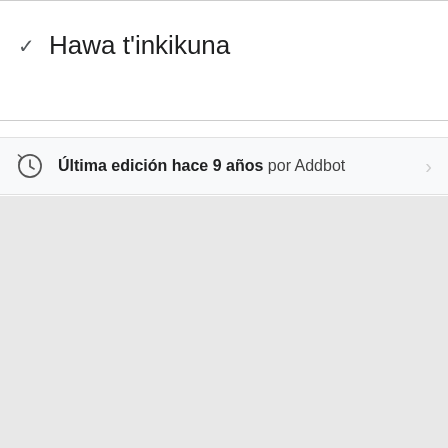Hawa t'inkikuna
Última edición hace 9 años por Addbot